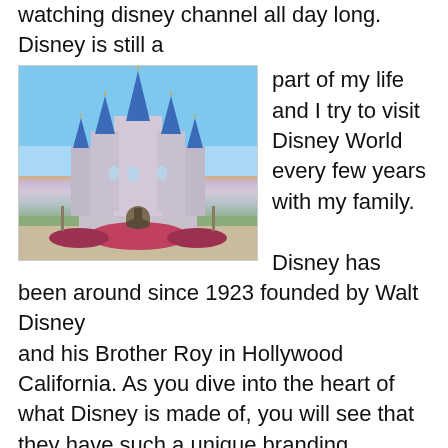watching disney channel all day long. Disney is still a part of my life and I try to visit Disney World every few years with my family.
[Figure (photo): Cinderella Castle at Walt Disney World Magic Kingdom, with the Mickey and Walt Disney statue in the foreground and a clear blue sky.]
Disney has been around since 1923 founded by Walt Disney and his Brother Roy in Hollywood California. As you dive into the heart of what Disney is made of, you will see that they have such a unique branding strategy. Their branding technique is one that targets all ages. If you
and his Brother Roy in Hollywood California. As you dive into the heart of what Disney is made of, you will see that they have such a unique branding strategy. Their branding technique is one that targets all ages. If you